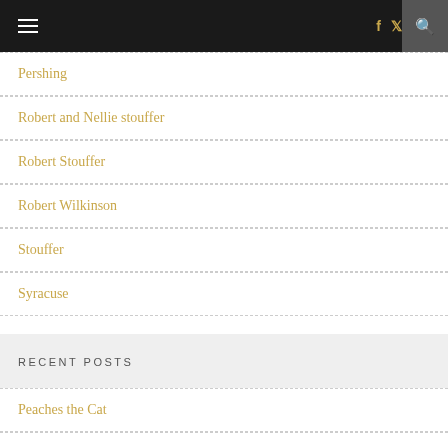≡  f  🐦  🔍
Pershing
Robert and Nellie stouffer
Robert Stouffer
Robert Wilkinson
Stouffer
Syracuse
RECENT POSTS
Peaches the Cat
Chalet High Timeshare
Frank Wilkinson's Funeral Program